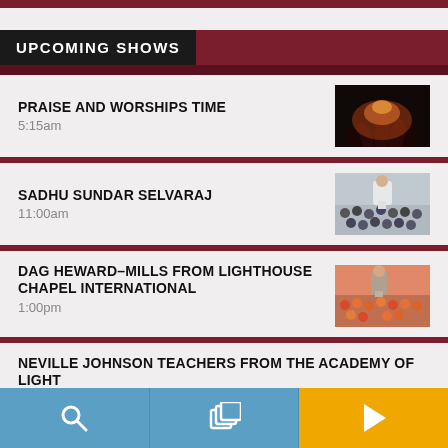UPCOMING SHOWS
PRAISE AND WORSHIPS TIME
5:15am
SADHU SUNDAR SELVARAJ
11:00am
DAG HEWARD-MILLS FROM LIGHTHOUSE CHAPEL INTERNATIONAL
1:00pm
NEVILLE JOHNSON TEACHERS FROM THE ACADEMY OF LIGHT
2:00pm